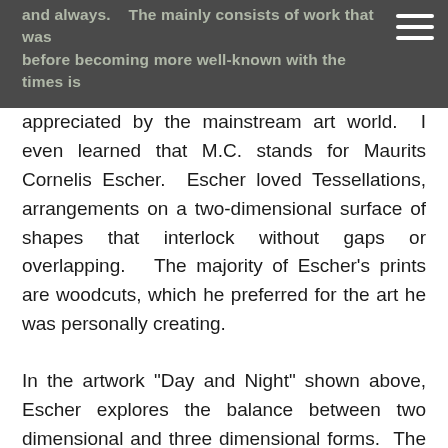and always. The mainly consists of work that was before becoming more well-known with the times is
appreciated by the mainstream art world. I even learned that M.C. stands for Maurits Cornelis Escher. Escher loved Tessellations, arrangements on a two-dimensional surface of shapes that interlock without gaps or overlapping. The majority of Escher's prints are woodcuts, which he preferred for the art he was personally creating.
In the artwork "Day and Night" shown above, Escher explores the balance between two dimensional and three dimensional forms. The black and white birds in his woodcut are flying in opposite directions, morphing into a landscape below. Escher plays with the ideas of symmetry and contrast. The right and left sides of the paper are mirror images of each other. The white birds appear over a nighttime landscape, and the black birds appear over a daytime landscape.